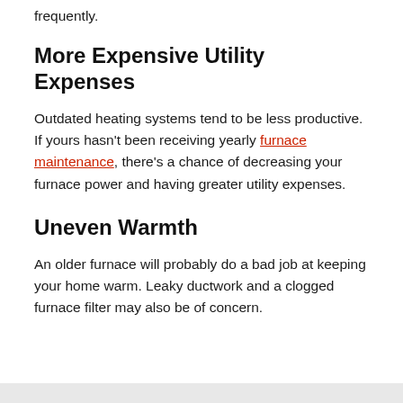that your furnace has the need for repairs more frequently.
More Expensive Utility Expenses
Outdated heating systems tend to be less productive. If yours hasn't been receiving yearly furnace maintenance, there's a chance of decreasing your furnace power and having greater utility expenses.
Uneven Warmth
An older furnace will probably do a bad job at keeping your home warm. Leaky ductwork and a clogged furnace filter may also be of concern.